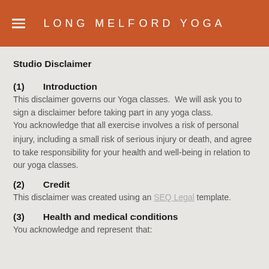LONG MELFORD YOGA
Studio Disclaimer
(1)    Introduction
This disclaimer governs our Yoga classes.  We will ask you to sign a disclaimer before taking part in any yoga class.
You acknowledge that all exercise involves a risk of personal injury, including a small risk of serious injury or death, and agree to take responsibility for your health and well-being in relation to our yoga classes.
(2)    Credit
This disclaimer was created using an SEQ Legal template.
(3)    Health and medical conditions
You acknowledge and represent that: